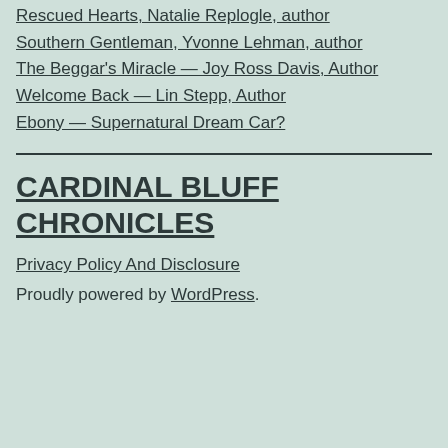Rescued Hearts, Natalie Replogle, author
Southern Gentleman, Yvonne Lehman, author
The Beggar's Miracle — Joy Ross Davis, Author
Welcome Back — Lin Stepp, Author
Ebony — Supernatural Dream Car?
CARDINAL BLUFF CHRONICLES
Privacy Policy And Disclosure
Proudly powered by WordPress.